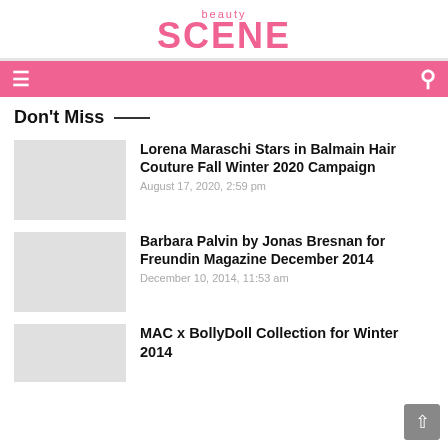beauty SCENE
Don't Miss
Lorena Maraschi Stars in Balmain Hair Couture Fall Winter 2020 Campaign
August 17, 2020, 2:59 pm
Barbara Palvin by Jonas Bresnan for Freundin Magazine December 2014
December 10, 2014, 11:53 am
MAC x BollyDoll Collection for Winter 2014